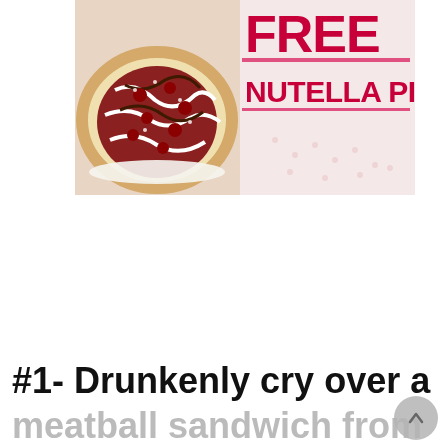[Figure (photo): A pizza with chocolate/Nutella drizzle and berries on the left side, and a promotional sign on the right side with text 'FREE NUTELLA PIZZA' in pink/red bold letters]
#1- Drunkenly cry over a
meatball sandwich from